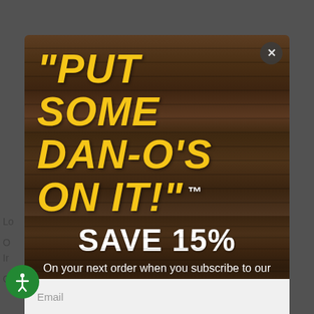[Figure (screenshot): Dan-O's Seasoning website popup modal on dark wood texture background. Modal shows yellow italic slogan text 'PUT SOME DAN-O'S ON IT!' with trademark symbol, then 'SAVE 15%' in white bold text, followed by 'On your next order when you subscribe to our mailing list!' in white text. An email input field appears at the bottom. A close button (X) is in the top right corner. A green accessibility icon is in the bottom left.]